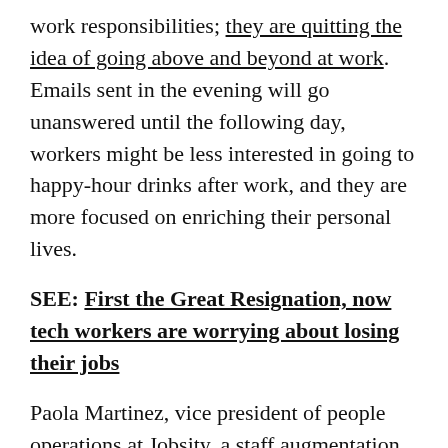work responsibilities; they are quitting the idea of going above and beyond at work. Emails sent in the evening will go unanswered until the following day, workers might be less interested in going to happy-hour drinks after work, and they are more focused on enriching their personal lives.
SEE: First the Great Resignation, now tech workers are worrying about losing their jobs
Paola Martinez, vice president of people operations at Jobsity, a staff augmentation company, attributes the trend of quiet quitting to a few variables, starting with the job insecurity the COVID-19 pandemic brought in 2020. Workers felt unprotected by their employers and sought out